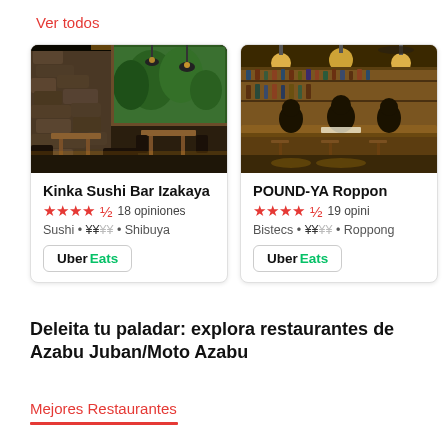Ver todos
[Figure (photo): Interior photo of Kinka Sushi Bar Izakaya restaurant showing wooden tables, bench seating, stone wall and green garden view through window]
Kinka Sushi Bar Izakaya
★★★★½ 18 opiniones
Sushi • ¥¥¥¥ • Shibuya
Uber Eats
[Figure (photo): Interior photo of POUND-YA Roppongi restaurant showing bar seating, warm lighting, bottles on shelves, patrons seated at bar]
POUND-YA Roppon…
★★★★½ 19 opini…
Bistecs • ¥¥¥¥ • Roppong…
Uber Eats
Deleita tu paladar: explora restaurantes de Azabu Juban/Moto Azabu
Mejores Restaurantes